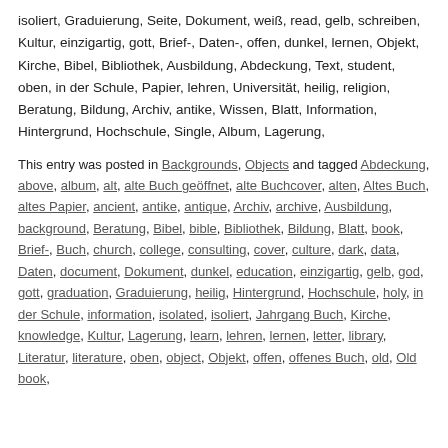isoliert, Graduierung, Seite, Dokument, weiß, read, gelb, schreiben, Kultur, einzigartig, gott, Brief-, Daten-, offen, dunkel, lernen, Objekt, Kirche, Bibel, Bibliothek, Ausbildung, Abdeckung, Text, student, oben, in der Schule, Papier, lehren, Universität, heilig, religion, Beratung, Bildung, Archiv, antike, Wissen, Blatt, Information, Hintergrund, Hochschule, Single, Album, Lagerung,
This entry was posted in Backgrounds, Objects and tagged Abdeckung, above, album, alt, alte Buch geöffnet, alte Buchcover, alten, Altes Buch, altes Papier, ancient, antike, antique, Archiv, archive, Ausbildung, background, Beratung, Bibel, bible, Bibliothek, Bildung, Blatt, book, Brief-, Buch, church, college, consulting, cover, culture, dark, data, Daten, document, Dokument, dunkel, education, einzigartig, gelb, god, gott, graduation, Graduierung, heilig, Hintergrund, Hochschule, holy, in der Schule, information, isolated, isoliert, Jahrgang Buch, Kirche, knowledge, Kultur, Lagerung, learn, lehren, lernen, letter, library, Literatur, literature, oben, object, Objekt, offen, offenes Buch, old, Old book,